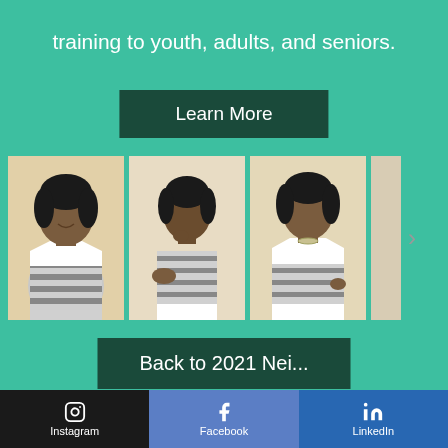training to youth, adults, and seniors.
Learn More
[Figure (photo): Three photos of a woman in a striped top, shown in different poses against a light background]
Back to 2021 Nei...
Columbus is my Neighborhood acknowledges the everyday heroes in Columbus, Ohio and managed by the Neighborhood Design Center. Thank you to Orange Barrel Media and The Columbus Foundation for your generous support.
Instagram   Facebook   LinkedIn